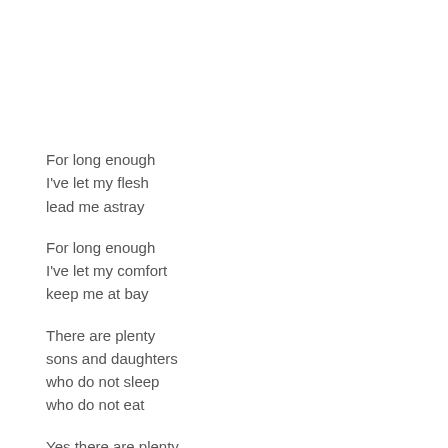For long enough
I've let my flesh
lead me astray

For long enough
I've let my comfort
keep me at bay

There are plenty
sons and daughters
who do not sleep
who do not eat

Yes there are plenty
widows and orphans